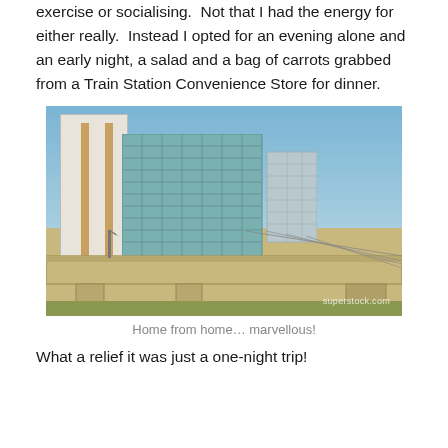exercise or socialising.  Not that I had the energy for either really.  Instead I opted for an evening alone and an early night, a salad and a bag of carrots grabbed from a Train Station Convenience Store for dinner.
[Figure (photo): Photograph of a modern city area with tall glass and concrete office buildings and an elevated railway bridge/viaduct in the foreground. Watermark: superstock.com]
Home from home… marvellous!
What a relief it was just a one-night trip!